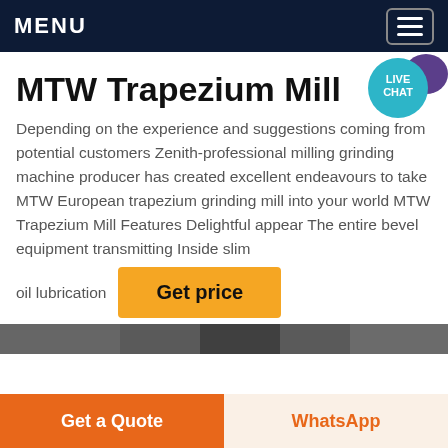MENU
[Figure (illustration): Live Chat speech bubble badge icon, teal circle with white text LIVE CHAT and purple speech bubble]
MTW Trapezium Mill
Depending on the experience and suggestions coming from potential customers Zenith-professional milling grinding machine producer has created excellent endeavours to take MTW European trapezium grinding mill into your world MTW Trapezium Mill Features Delightful appear The entire bevel equipment transmitting Inside slim oil lubrication
Get price
[Figure (photo): Partial view of industrial milling machine equipment, dark image strip]
Get a Quote
WhatsApp